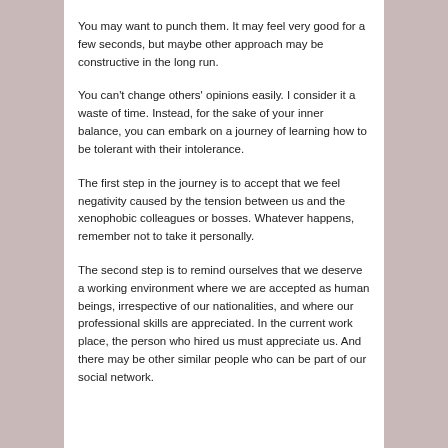You may want to punch them. It may feel very good for a few seconds, but maybe other approach may be constructive in the long run.
You can't change others' opinions easily. I consider it a waste of time. Instead, for the sake of your inner balance, you can embark on a journey of learning how to be tolerant with their intolerance.
The first step in the journey is to accept that we feel negativity caused by the tension between us and the xenophobic colleagues or bosses. Whatever happens, remember not to take it personally.
The second step is to remind ourselves that we deserve a working environment where we are accepted as human beings, irrespective of our nationalities, and where our professional skills are appreciated. In the current work place, the person who hired us must appreciate us. And there may be other similar people who can be part of our social network.